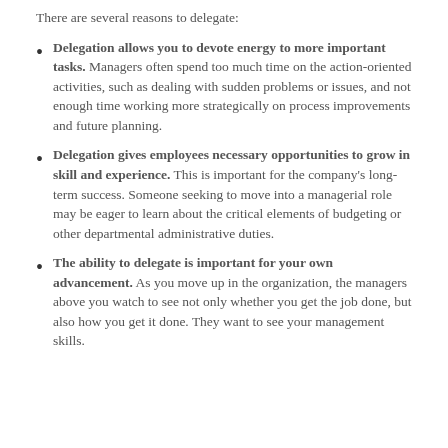There are several reasons to delegate:
Delegation allows you to devote energy to more important tasks. Managers often spend too much time on the action-oriented activities, such as dealing with sudden problems or issues, and not enough time working more strategically on process improvements and future planning.
Delegation gives employees necessary opportunities to grow in skill and experience. This is important for the company’s long-term success. Someone seeking to move into a managerial role may be eager to learn about the critical elements of budgeting or other departmental administrative duties.
The ability to delegate is important for your own advancement. As you move up in the organization, the managers above you watch to see not only whether you get the job done, but also how you get it done. They want to see your management skills.